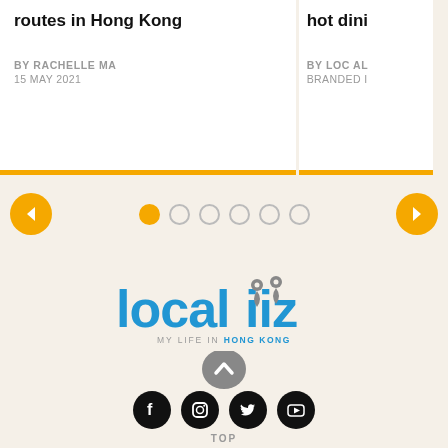routes in Hong Kong
BY RACHELLE MA
15 MAY 2021
hot dini
BY LOCAL
BRANDED I
[Figure (infographic): Carousel navigation: left arrow button, 6 dot indicators (first active/orange), right arrow button]
[Figure (logo): Localiiz logo with map pins, tagline MY LIFE IN HONG KONG, social media icons (Facebook, Instagram, Twitter, YouTube), TOP button, and footer text]
Real stories. Real news. Real insight. And real humour, too.